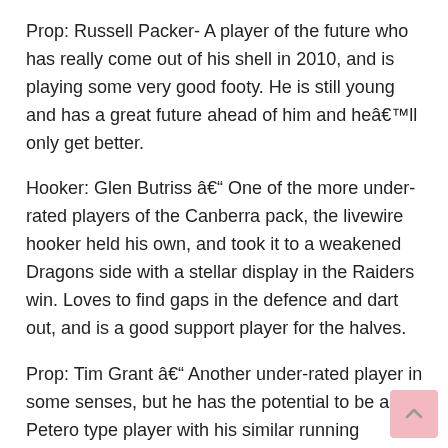Prop: Russell Packer- A player of the future who has really come out of his shell in 2010, and is playing some very good footy. He is still young and has a great future ahead of him and heâll only get better.
Hooker: Glen Butriss â One of the more under-rated players of the Canberra pack, the livewire hooker held his own, and took it to a weakened Dragons side with a stellar display in the Raiders win. Loves to find gaps in the defence and dart out, and is a good support player for the halves.
Prop: Tim Grant â Another under-rated player in some senses, but he has the potential to be a Petero type player with his similar running